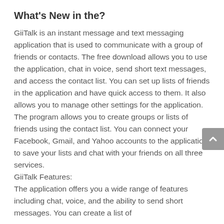What's New in the?
GiiTalk is an instant message and text messaging application that is used to communicate with a group of friends or contacts. The free download allows you to use the application, chat in voice, send short text messages, and access the contact list. You can set up lists of friends in the application and have quick access to them. It also allows you to manage other settings for the application.
The program allows you to create groups or lists of friends using the contact list. You can connect your Facebook, Gmail, and Yahoo accounts to the application to save your lists and chat with your friends on all three services.
GiiTalk Features:
The application offers you a wide range of features including chat, voice, and the ability to send short messages. You can create a list of